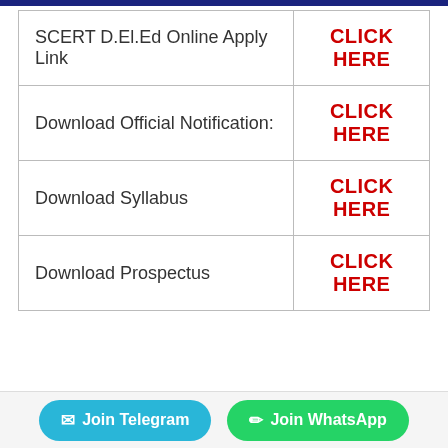|  |  |
| --- | --- |
| SCERT D.El.Ed Online Apply Link | CLICK HERE |
| Download Official Notification: | CLICK HERE |
| Download Syllabus | CLICK HERE |
| Download Prospectus | CLICK HERE |
Join Telegram   Join WhatsApp